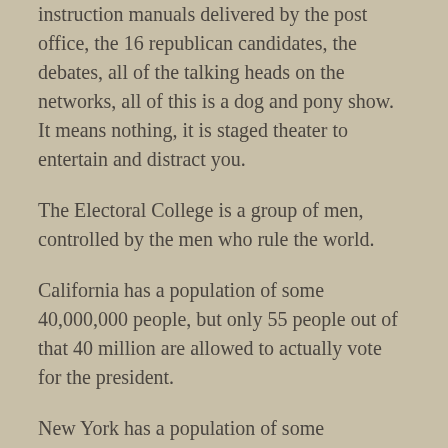instruction manuals delivered by the post office, the 16 republican candidates, the debates, all of the talking heads on the networks, all of this is a dog and pony show. It means nothing, it is staged theater to entertain and distract you.
The Electoral College is a group of men, controlled by the men who rule the world.
California has a population of some 40,000,000 people, but only 55 people out of that 40 million are allowed to actually vote for the president.
New York has a population of some 20,000,000 people, but only 31 of those 20 million people are allowed to actually vote for the president.